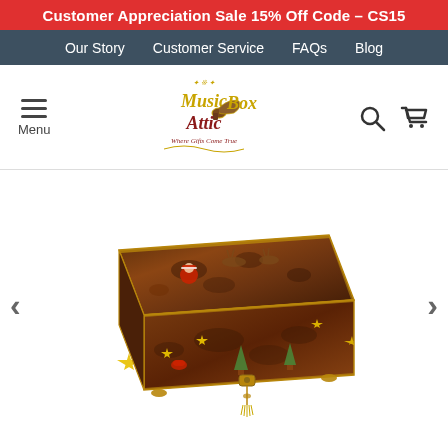Customer Appreciation Sale 15% Off Code – CS15
Our Story   Customer Service   FAQs   Blog
[Figure (logo): Music Box Attic logo with gramophone icon and tagline 'Where Gifts Come True']
[Figure (photo): A decorative wooden music box with Santa Claus and reindeer inlay design, Christmas trees and gold stars on the front, with a lock and tassel key, photographed on white background]